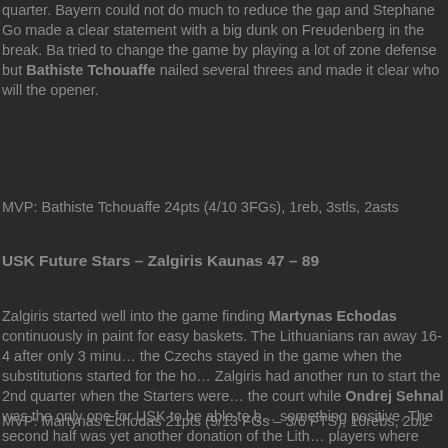quarter. Bayern could not do much to reduce the gap and Stephane Go made a clear statement with a big dunk on Freudenberg in the break. Ba tried to change the game by playing a lot of zone defense but Bathiste Tchouaffe nailed several threes and made it clear who will the opener.
MVP: Bathiste Tchouaffe 24pts (4/10 3FGs), 1reb, 3stls, 2asts
USK Future Stars – Zalgiris Kaunas 47 – 89
Zalgiris started well into the game finding Martynas Echodas continuously in the paint for easy baskets. The Lithuanians ran away 16-4 after only 3 minutes, the Czechs stayed in the game when the substitutions started for the hosts. Zalgiris had another run to start the 2nd quarter when the Starters were back on the court while Ondrej Sehnal was the only one for USK to be able to bring something positive. The second half was yet another donation of the Lithuanian players where Echodas and Laurynas Birutis were reigning in the paint and Arnoldas Kulboka the scorer from outside.
MVP: Martynas Echodas 21pts (9/13 FGs – 3/6 FTS), 10rebs, 2blz